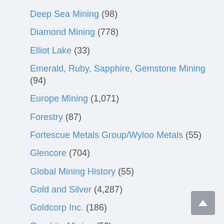Deep Sea Mining (98)
Diamond Mining (778)
Elliot Lake (33)
Emerald, Ruby, Sapphire, Gemstone Mining (94)
Europe Mining (1,071)
Forestry (87)
Fortescue Metals Group/Wyloo Metals (55)
Glencore (704)
Global Mining History (55)
Gold and Silver (4,287)
Goldcorp Inc. (186)
Graphite Mining (53)